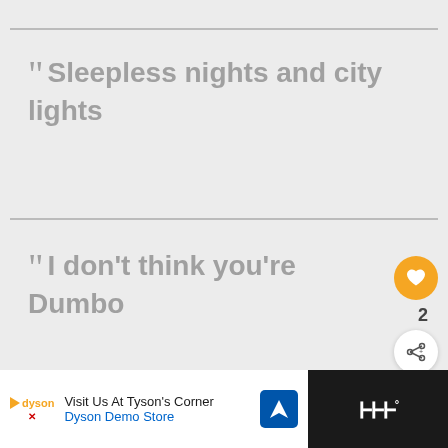“ Sleepless nights and city lights
“ I don’t think you’re Dumbo
Captions To Use With New York Update...
WHAT’S NEXT → 100 Perfect Snow...
Visit Us At Tyson’s Corner Dyson Demo Store
[Figure (screenshot): Social media interface with heart/like button showing count of 2, share button, and a 'What's Next' recommendation panel showing '100 Perfect Snow...' article thumbnail. Bottom ad bar shows Dyson Demo Store advertisement.]